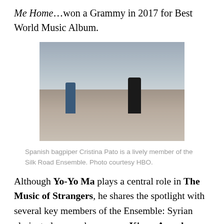Me Home…won a Grammy in 2017 for Best World Music Album.
[Figure (photo): A Spanish bagpiper (Cristina Pato) playing bagpipes and walking energetically on a cobblestone waterfront promenade, with other people visible in the background and a body of water with hills behind, under a cloudy sky.]
Spanish bagpiper Cristina Pato is a lively member of the Silk Road Ensemble. Photo courtesy HBO.
Although Yo-Yo Ma plays a central role in The Music of Strangers, he shares the spotlight with several key members of the Ensemble: Syrian clarinet player and composer Kinan Azmeh; Chinese pipa player and